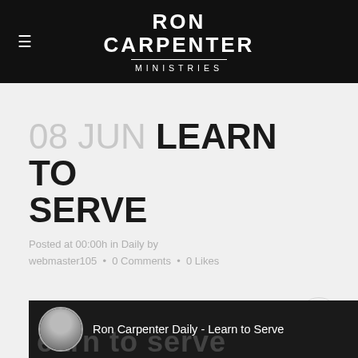RON CARPENTER MINISTRIES
08 JUN LEARN TO SERVE
Posted at 00:00h in Daily by webmaster105 • 0 Comments • 0 Likes
LEARN TO SERVE
[Figure (screenshot): Video thumbnail showing Ron Carpenter Daily – Learn to Serve with a circular avatar photo of a man and large background text reading 'earn to Serve']